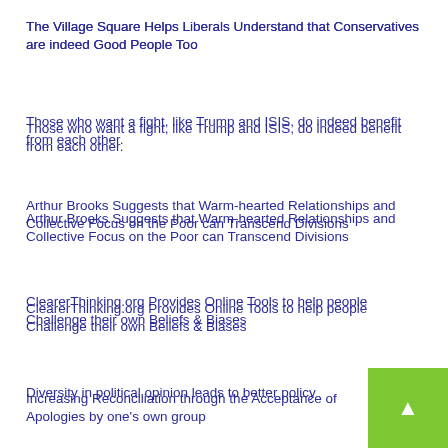The Village Square Helps Liberals Understand that Conservatives are indeed Good People Too
Those who want a fight, like Trump and ISIS, do indeed benefit from each other.
Arthur Brooks Suggests that Warm-hearted Relationships and Collective Focus on the Poor can Transcend Divisions
ClearerThinking.org Provides Online Tools to help people Challenge their own Beliefs & Biases
Increasing Reconciliation through the Acceptance of Apologies by one's own group
On Trust, Conversation, & Relationships from the Institute for American Values' David Blankenhorn
Diversity in political opinion leads to better policy